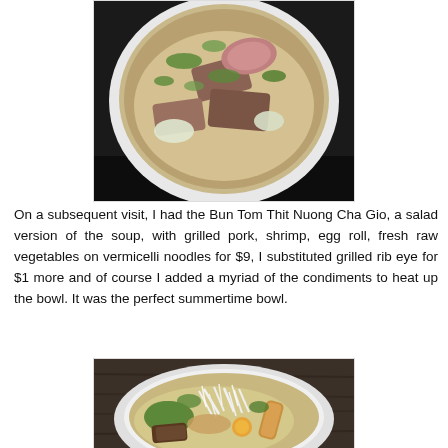[Figure (photo): Top-down photo of a bowl of Vietnamese pho soup with sliced meats, noodles, and fresh herbs on a white plate against a dark background]
On a subsequent visit, I had the Bun Tom Thit Nuong Cha Gio, a salad version of the soup, with grilled pork, shrimp, egg roll, fresh raw vegetables on vermicelli noodles for $9, I substituted grilled rib eye for $1 more and of course I added a myriad of the condiments to heat up the bowl. It was the perfect summertime bowl.
[Figure (photo): Photo of a Vietnamese bun bowl with vermicelli noodles, bean sprouts, egg roll, grilled meats, and fresh vegetables in a white bowl on a dark wooden surface]